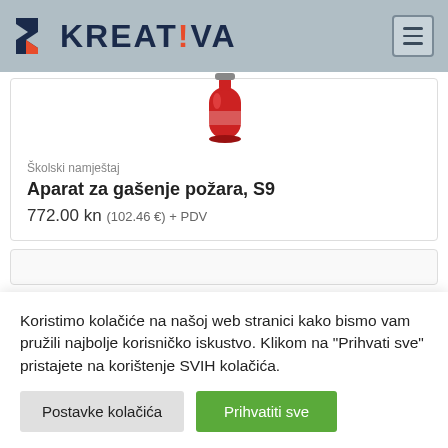[Figure (logo): Kreativa logo with angular chevron icon and KREAT!VA wordmark on grey header background with hamburger menu icon]
[Figure (photo): Red fire extinguisher (Aparat za gašenje požara S9) product photo, partially cropped at top]
Školski namještaj
Aparat za gašenje požara, S9
772.00 kn (102.46 €) + PDV
Koristimo kolačiće na našoj web stranici kako bismo vam pružili najbolje korisničko iskustvo. Klikom na "Prihvati sve" pristajete na korištenje SVIH kolačića.
Postavke kolačića
Prihvatiti sve